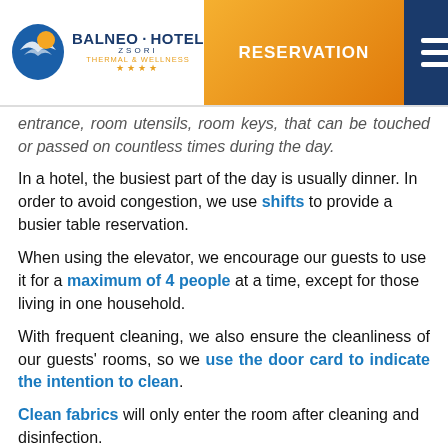Balneo Hotel Zsori Thermal & Wellness | RESERVATION | Menu
…entrance, room utensils, room keys, that can be touched or passed on countless times during the day.
In a hotel, the busiest part of the day is usually dinner. In order to avoid congestion, we use shifts to provide a busier table reservation.
When using the elevator, we encourage our guests to use it for a maximum of 4 people at a time, except for those living in one household.
With frequent cleaning, we also ensure the cleanliness of our guests' rooms, so we use the door card to indicate the intention to clean.
Clean fabrics will only enter the room after cleaning and disinfection.